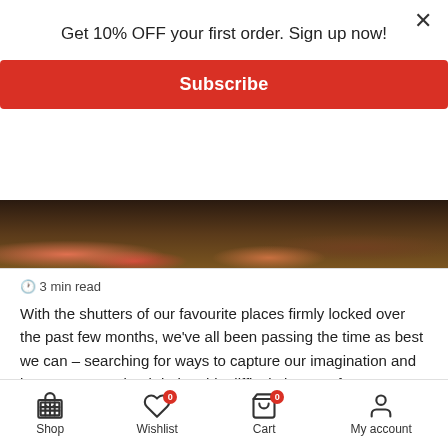Get 10% OFF your first order. Sign up now!
[Figure (other): Red Subscribe button]
[Figure (photo): Banner image showing people and wooden boxes/crates from above, dimly lit]
🕐 3 min read
With the shutters of our favourite places firmly locked over the past few months, we've all been passing the time as best we can – searching for ways to capture our imagination and keep us entertained during this difficult time. As far as escapism goes, films are right up there. And when it comes to Japanese films, Tokyo International Film Festival productions stand out as the pinnacle of Japanese cinema. Established in 1985, Toyko's Film Festival has been entertaining film-fanatics with high-quality dramas, thrillers, comedies, and more for years with films both short and long.
[Figure (other): Scroll to top arrow button]
Shop    Wishlist 0    Cart 0    My account